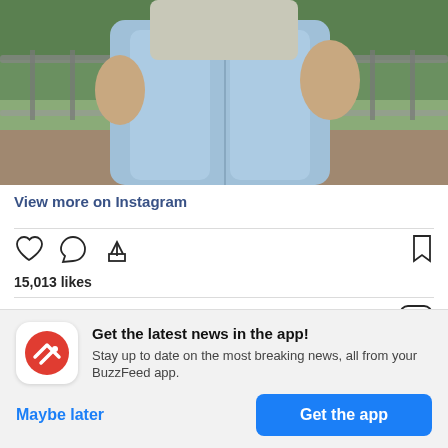[Figure (photo): Instagram photo showing two people, lower body visible, wearing light blue jeans, standing on what appears to an outdoor area with greenery and a railing in the background]
View more on Instagram
15,013 likes
Add a comment...
Get the latest news in the app! Stay up to date on the most breaking news, all from your BuzzFeed app.
Maybe later
Get the app